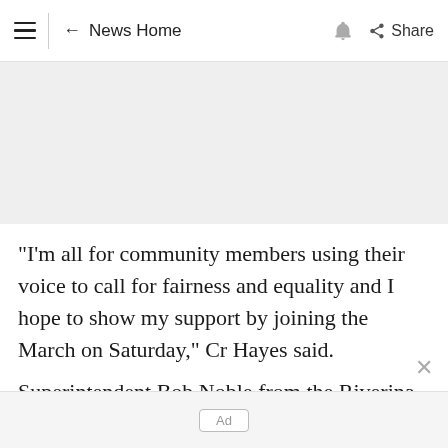≡ | ← News Home 🔔 Share
[Figure (other): Gray advertisement banner area]
"I'm all for community members using their voice to call for fairness and equality and I hope to show my support by joining the March on Saturday," Cr Hayes said.
Superintendent Bob Noble from the Riverina Police District, said he had personally been
Ad